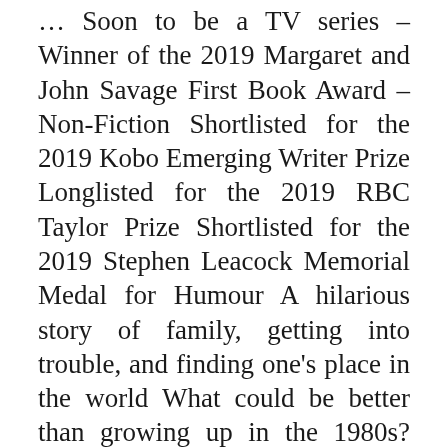Soon to be a TV series – Winner of the 2019 Margaret and John Savage First Book Award – Non-Fiction Shortlisted for the 2019 Kobo Emerging Writer Prize Longlisted for the 2019 RBC Taylor Prize Shortlisted for the 2019 Stephen Leacock Memorial Medal for Humour A hilarious story of family, getting into trouble, and finding one's place in the world What could be better than growing up in the 1980s? How about growing up in 1980s Newfoundland, which--as Mark Critch will tell you--was more like the 1960s. Take a trip to where it all began in this funny and warm look back on his formative years. Here we find a young Mark trick-or-treating at a used car lot, getting locked out of school on a fourth-floor window ledge, faking an asthma attack to avoid being arrested by military police, trying to buy beer from an untrustworthy cab driver, shocking his